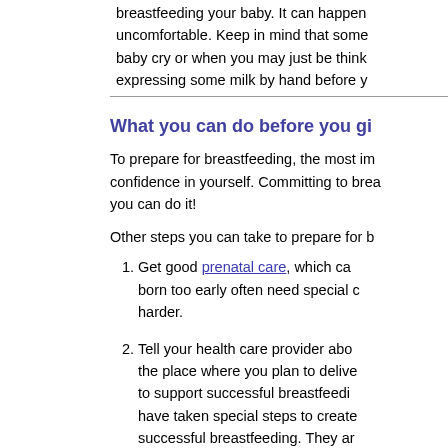breastfeeding your baby. It can happen uncomfortable. Keep in mind that some baby cry or when you may just be think expressing some milk by hand before y
What you can do before you gi
To prepare for breastfeeding, the most im confidence in yourself. Committing to brea you can do it!
Other steps you can take to prepare for b
Get good prenatal care, which ca born too early often need special  harder.
Tell your health care provider abo the place where you plan to delive to support successful breastfeedi have taken special steps to create successful breastfeeding. They ar Birth Centers. Women who delive